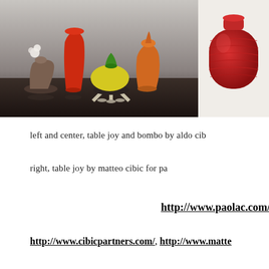[Figure (photo): Left and center: group of decorative vases and a candle holder on a dark table — including a bronze/brown small vase with a flower, a tall red vase, yellow and green glass dome-shaped pieces on a metallic stand, and an orange bell-shaped vase. Right: a red textured/woven rounded vase on white background.]
left and center, table joy and bombo by aldo cib
right, table joy by matteo cibic for pa
http://www.paolac.com/
http://www.cibicpartners.com/, http://www.matte